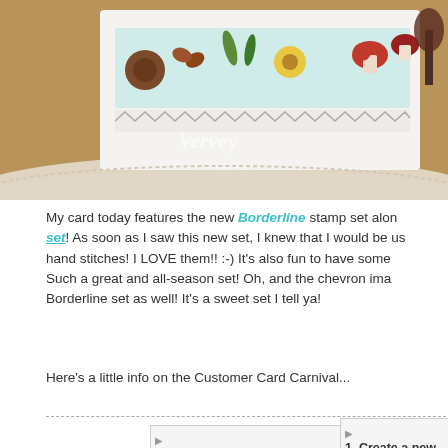[Figure (photo): A handmade card with colorful patterned paper showing woodland/nature motifs (mushrooms, flowers, butterflies, leaves) in red, green, yellow, teal colors, with a chevron zigzag border, sitting on a cream crocheted doily on a wooden surface. A watermark reads 'Vervey' with 'Verena Schmillig'.]
My card today features the new Borderline stamp set along with the [linked set]! As soon as I saw this new set, I knew that I would be using it with the hand stitches! I LOVE them!! :-) It's also fun to have some whimsy added. Such a great and all-season set! Oh, and the chevron image is from the Borderline set as well! It's a sweet set I tell ya!
Here's a little info on the Customer Card Carnival...
[Figure (photo): Small image placeholder (broken image icon) in bottom left area]
[Figure (photo): Small image placeholder (broken image icon) in bottom right area]
1. Create a new...
2. Post your car...